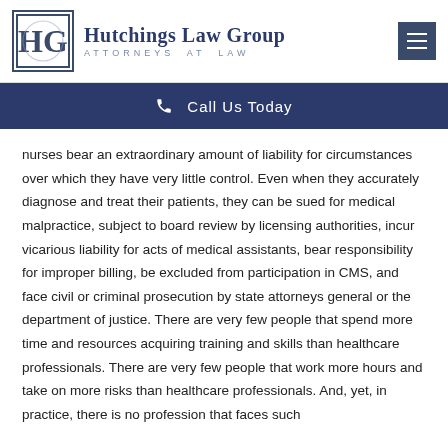Hutchings Law Group — ATTORNEYS AT LAW
Call Us Today
nurses bear an extraordinary amount of liability for circumstances over which they have very little control. Even when they accurately diagnose and treat their patients, they can be sued for medical malpractice, subject to board review by licensing authorities, incur vicarious liability for acts of medical assistants, bear responsibility for improper billing, be excluded from participation in CMS, and face civil or criminal prosecution by state attorneys general or the department of justice. There are very few people that spend more time and resources acquiring training and skills than healthcare professionals. There are very few people that work more hours and take on more risks than healthcare professionals. And, yet, in practice, there is no profession that faces such